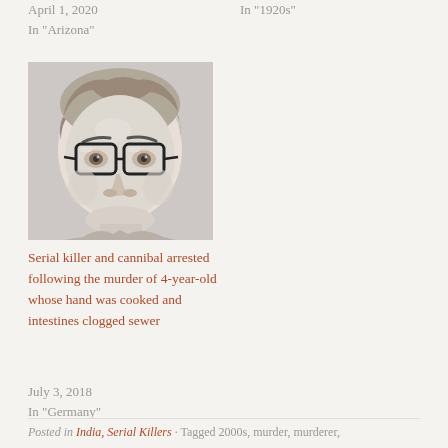April 1, 2020
In "Arizona"
In "1920s"
[Figure (photo): Black and white portrait photograph of a man wearing thick-rimmed glasses, close-up face shot]
Serial killer and cannibal arrested following the murder of 4-year-old whose hand was cooked and intestines clogged sewer
July 3, 2018
In "Germany"
Posted in India, Serial Killers · Tagged 2000s, murder, murderer,